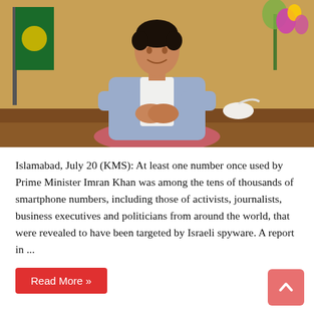[Figure (photo): A man in a grey suit jacket and white shirt sits with hands clasped together, in front of a green flag with yellow emblem and pink/purple flowers in background. Likely Prime Minister Imran Khan.]
Islamabad, July 20 (KMS): At least one number once used by Prime Minister Imran Khan was among the tens of thousands of smartphone numbers, including those of activists, journalists, business executives and politicians from around the world, that were revealed to have been targeted by Israeli spyware. A report in ...
Read More »
Heavy rains cause flash-floods in south